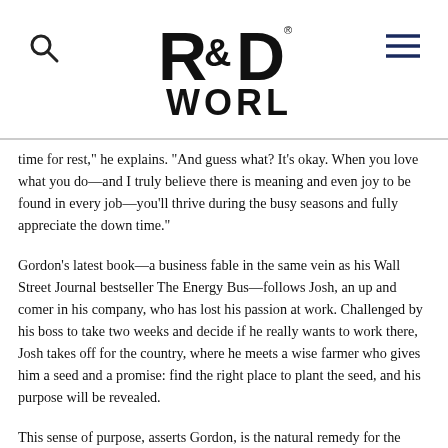R&D World logo with search and menu icons
time for rest,” he explains. “And guess what? It’s okay. When you love what you do—and I truly believe there is meaning and even joy to be found in every job—you’ll thrive during the busy seasons and fully appreciate the down time.”
Gordon’s latest book—a business fable in the same vein as his Wall Street Journal bestseller The Energy Bus—follows Josh, an up and comer in his company, who has lost his passion at work. Challenged by his boss to take two weeks and decide if he really wants to work there, Josh takes off for the country, where he meets a wise farmer who gives him a seed and a promise: find the right place to plant the seed, and his purpose will be revealed.
This sense of purpose, asserts Gordon, is the natural remedy for the crushing guilt that many working parents in particular experience. (You know the drill: when you’re working late, you feel